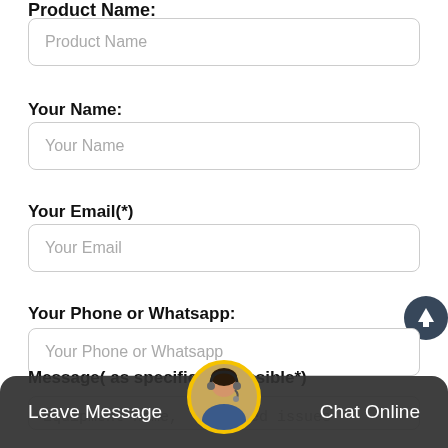Product Name:
Product Name (placeholder)
Your Name:
Your Name (placeholder)
Your Email(*)
Your Email (placeholder)
Your Phone or Whatsapp:
Your Phone or Whatsapp (placeholder)
Message( as specific as possible*)
Equipment name,   related issues
Leave Message
Chat Online